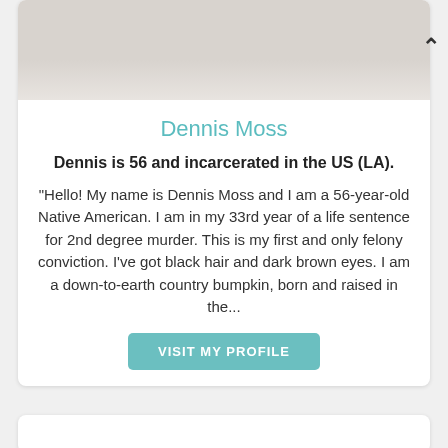[Figure (photo): Top portion of a person's photo, cropped — shows upper body in a light-colored shirt against a light background.]
Dennis Moss
Dennis is 56 and incarcerated in the US (LA).
"Hello! My name is Dennis Moss and I am a 56-year-old Native American. I am in my 33rd year of a life sentence for 2nd degree murder. This is my first and only felony conviction. I've got black hair and dark brown eyes. I am a down-to-earth country bumpkin, born and raised in the...
VISIT MY PROFILE